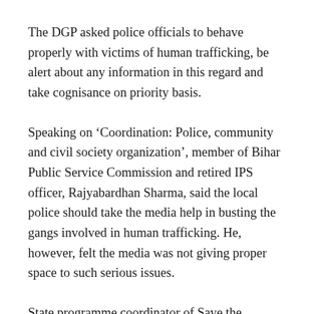The DGP asked police officials to behave properly with victims of human trafficking, be alert about any information in this regard and take cognisance on priority basis.
Speaking on ‘Coordination: Police, community and civil society organization’, member of Bihar Public Service Commission and retired IPS officer, Rajyabardhan Sharma, said the local police should take the media help in busting the gangs involved in human trafficking. He, however, felt the media was not giving proper space to such serious issues.
State programme coordinator of Save the